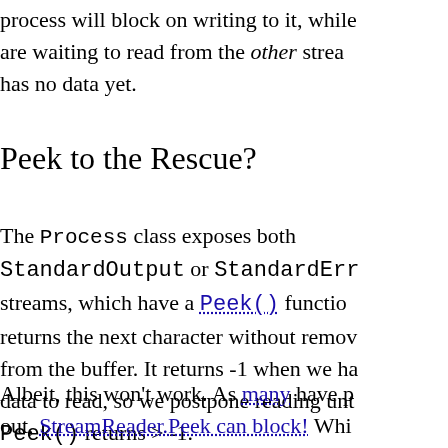process will block on writing to it, while are waiting to read from the other stream has no data yet.
Peek to the Rescue?
The Process class exposes both StandardOutput or StandardErr streams, which have a Peek() function returns the next character without removing from the buffer. It returns -1 when we have no data to read, so we postpone reading until Peek() returns > -1.
Albeit, this won't work. As many have pointed out, StreamReader.Peek can block! While ironic, considering that one would typ...